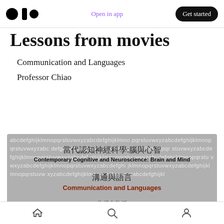Open in app | Get started
Lessons from movies
Communication and Languages
Professor Chiao
[Figure (screenshot): Screenshot of a course listing with alphabet background pattern. Shows Chinese and English titles: 當代認知神經科學:腦與心智 / Contemporary Cognitive and Neuroscience: Brain and Mind, 溝通與語言 / Communication and Languages, 焦傅金教授]
Home, Search, Profile navigation icons